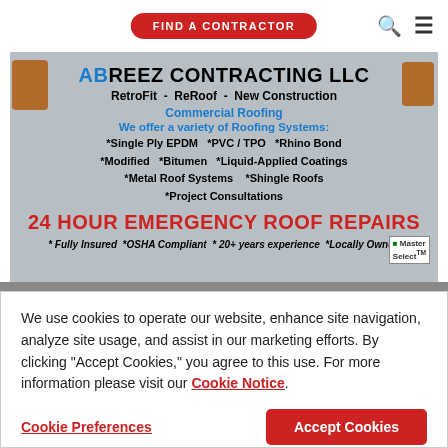[Figure (screenshot): Website header with 'FIND A CONTRACTOR' red pill button centered, search icon and hamburger menu on the right.]
[Figure (photo): Advertisement for ABREEZ CONTRACTING LLC showing roofing services: RetroFit, ReRoof, New Construction, Commercial Roofing, various roofing systems, and 24 HOUR EMERGENCY ROOF REPAIRS. Workers visible on edges. Master Select badge bottom right.]
We use cookies to operate our website, enhance site navigation, analyze site usage, and assist in our marketing efforts. By clicking "Accept Cookies," you agree to this use. For more information please visit our Cookie Notice.
Cookie Preferences
Accept Cookies